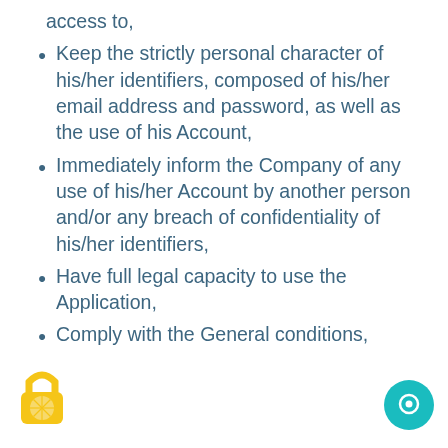access to,
Keep the strictly personal character of his/her identifiers, composed of his/her email address and password, as well as the use of his Account,
Immediately inform the Company of any use of his/her Account by another person and/or any breach of confidentiality of his/her identifiers,
Have full legal capacity to use the Application,
Comply with the General conditions,